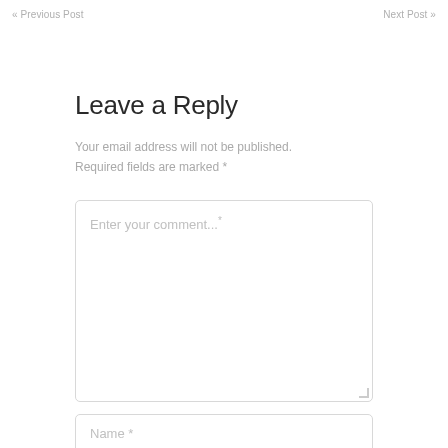« Previous Post    Next Post »
Leave a Reply
Your email address will not be published. Required fields are marked *
[Figure (screenshot): Comment text area input field with placeholder text 'Enter your comment...*']
[Figure (screenshot): Name input field with placeholder text 'Name *']